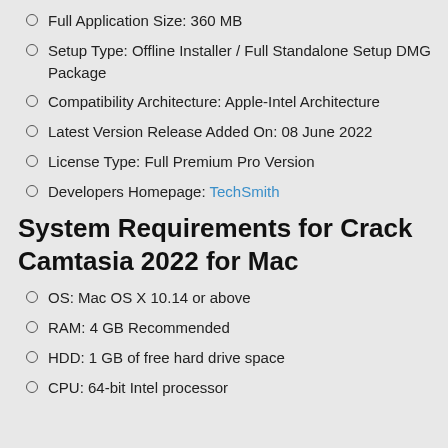Full Application Size: 360 MB
Setup Type: Offline Installer / Full Standalone Setup DMG Package
Compatibility Architecture: Apple-Intel Architecture
Latest Version Release Added On: 08 June 2022
License Type: Full Premium Pro Version
Developers Homepage: TechSmith
System Requirements for Crack Camtasia 2022 for Mac
OS: Mac OS X 10.14 or above
RAM: 4 GB Recommended
HDD: 1 GB of free hard drive space
CPU: 64-bit Intel processor